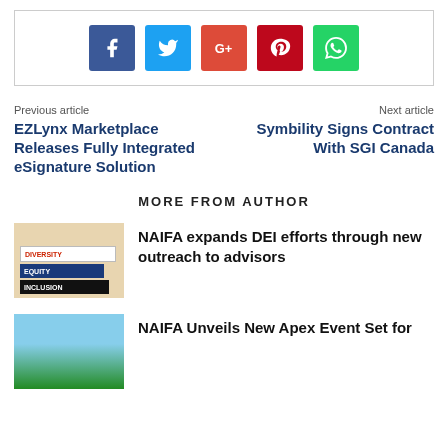[Figure (other): Social media share buttons: Facebook (blue), Twitter (cyan), Google+ (orange-red), Pinterest (dark red), WhatsApp (green)]
Previous article
EZLynx Marketplace Releases Fully Integrated eSignature Solution
Next article
Symbility Signs Contract With SGI Canada
MORE FROM AUTHOR
[Figure (photo): Books stacked showing Diversity, Equity, Inclusion labels]
NAIFA expands DEI efforts through new outreach to advisors
[Figure (photo): Palm trees against blue sky]
NAIFA Unveils New Apex Event Set for